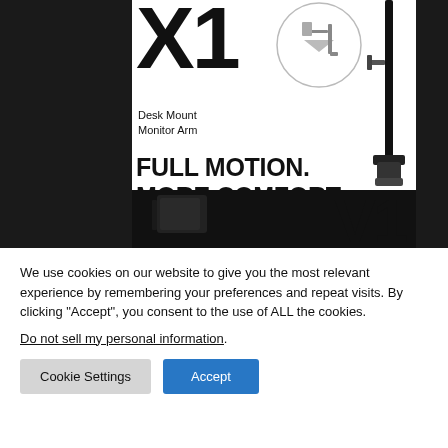[Figure (photo): Product advertisement showing a desk mount monitor arm (X1 model). Black monitor arm pole visible on right side with clamp base. Circular inset shows monitor arm detail. Large 'X1' text with 'Desk Mount Monitor Arm' label. Bold headline: 'FULL MOTION. MORE COMFORT. LESS PRICE.' Partial 'V1' product visible at bottom. Dark/grey background panels on left and right.]
We use cookies on our website to give you the most relevant experience by remembering your preferences and repeat visits. By clicking “Accept”, you consent to the use of ALL the cookies.
Do not sell my personal information.
Cookie Settings
Accept